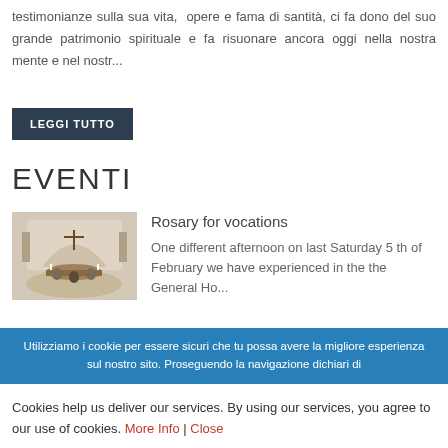testimonianze sulla sua vita, opere e fama di santità, ci fa dono del suo grande patrimonio spirituale e fa risuonare ancora oggi nella nostra mente e nel nostr...
LEGGI TUTTO
EVENTI
[Figure (photo): Interior of a chapel with an altar, crucifix, and figures gathered around a round table, viewed from above.]
Rosary for vocations
One different afternoon on last Saturday 5 th of February we have experienced in the the General Ho...
Utilizziamo i cookie per essere sicuri che tu possa avere la migliore esperienza sul nostro sito. Proseguendo la navigazione dichiari di
Cookies help us deliver our services. By using our services, you agree to our use of cookies. More Info | Close